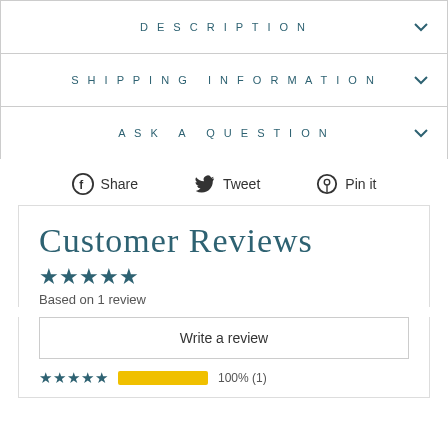DESCRIPTION
SHIPPING INFORMATION
ASK A QUESTION
Share  Tweet  Pin it
Customer Reviews
★★★★★
Based on 1 review
Write a review
★★★★★  100% (1)